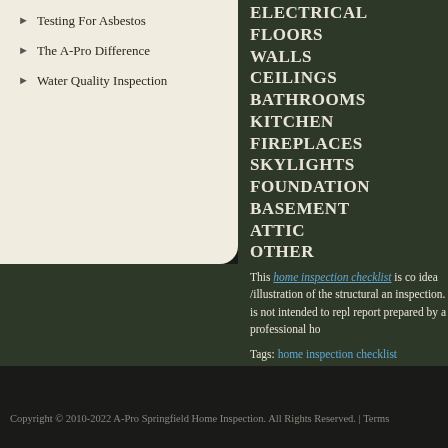Testing For Asbestos
The A-Pro Difference
Water Quality Inspection
ELECTRICAL
FLOORS
WALLS
CEILINGS
BATHROOMS
KITCHEN
FIREPLACES
SKYLIGHTS
FOUNDATION
BASEMENT
ATTIC
OTHER
This home inspection checklist is co idea /illustration of the structural an inspection. It is not intended to repl report prepared by a professional ho
Tags: home inspection checklist
Copyright © 2010-2022 A-Pro Springfield Home Inspection. All Rights Reserved. | Terms